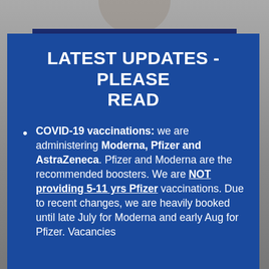[Figure (screenshot): Background image of a medical/vaccination scene with a dark gray overlay. A dark navy horizontal bar and dark red banner with text 'Incl COVID-19' are visible at the bottom.]
LATEST UPDATES - PLEASE READ
COVID-19 vaccinations: we are administering Moderna, Pfizer and AstraZeneca. Pfizer and Moderna are the recommended boosters. We are NOT providing 5-11 yrs Pfizer vaccinations. Due to recent changes, we are heavily booked until late July for Moderna and early Aug for Pfizer. Vacancies